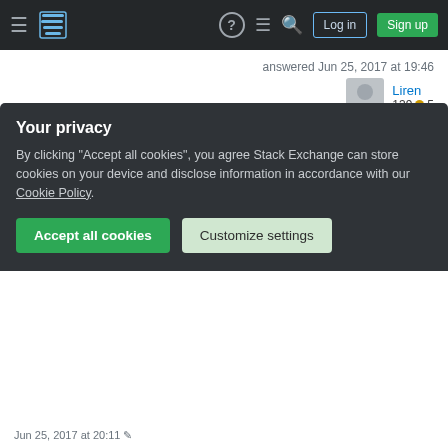Stack Exchange navigation bar with Log in and Sign up buttons
answered Jun 25, 2017 at 19:46
Liren 139 ● 5
Hello and welcome to the site. You seem to have a good deal of whitespace here. For instance some of your += and = are surrounded by spaces, which can be removed. In addition doing += twice in a row could be simplified into a single statement, for example e+=str(d)+'0' – Wheat Wizard ♦ Jun 25, 2017 at 20:02
@WheatWizard: Thanks and thanks. Saved 17 bytes :)
Your privacy
By clicking "Accept all cookies", you agree Stack Exchange can store cookies on your device and disclose information in accordance with our Cookie Policy.
Accept all cookies
Customize settings
Jun 25, 2017 at 20:11